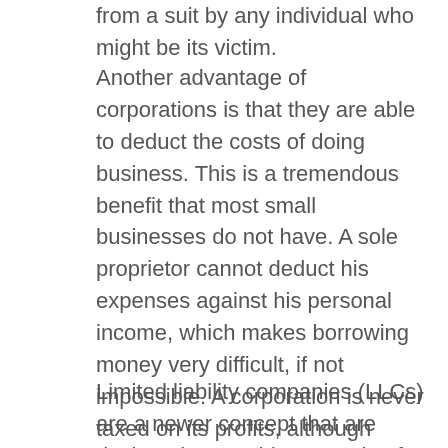from a suit by any individual who might be its victim.
Another advantage of corporations is that they are able to deduct the costs of doing business. This is a tremendous benefit that most small businesses do not have. A sole proprietor cannot deduct his expenses against his personal income, which makes borrowing money very difficult, if not impossible. A corporation is never taxed on its profits, although some states, such as Nevada, do have corporate tax for the personal profits of the corporation. However, the corporation is treated as an entity separate from the owners, so any profits it receives are taxed as if they were earned by an individual.
Limited liability companies (LLCs) are a newer concept that are designed to provide protection for the business structure from personal liability. In an LLC, all of the members are treated as single entities. They are allowed to use their personal assets for the LLC's